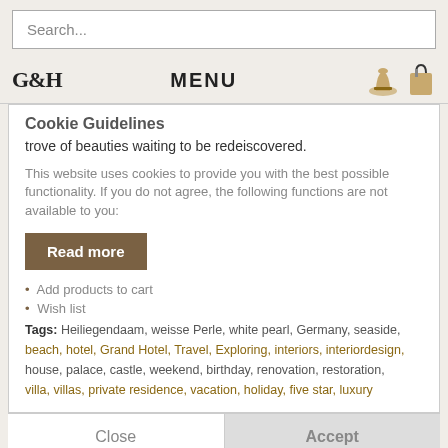Search...
G&H  MENU
Cookie Guidelines
trove of beauties waiting to be redeiscovered.
This website uses cookies to provide you with the best possible functionality. If you do not agree, the following functions are not available to you:
Read more
Add products to cart
Wish list
Tags: Heiliegendaam, weisse Perle, white pearl, Germany, seaside, beach, hotel, Grand Hotel, Travel, Exploring, interiors, interiordesign, house, palace, castle, weekend, birthday, renovation, restoration, villa, villas, private residence, vacation, holiday, five star, luxury
Close
Accept
SERVICE HOTLINE
SHOP SERVICE